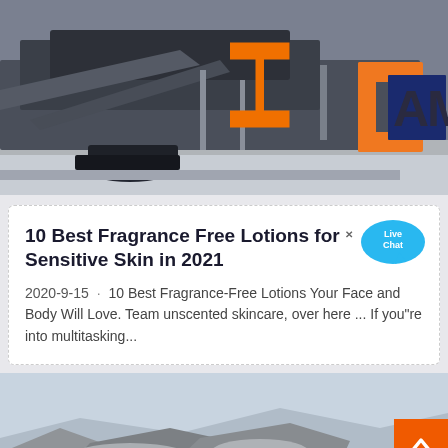[Figure (photo): Industrial machinery or construction equipment, dark metallic tones, with an orange and blue geometric logo reading 'AM' in the top right corner]
10 Best Fragrance Free Lotions for Sensitive Skin in 2021
2020-9-15 · 10 Best Fragrance-Free Lotions Your Face and Body Will Love. Team unscented skincare, over here ... If you"re into multitasking...
[Figure (photo): Outdoor industrial or mining scene with piles of gray crushed stone or gravel, light sky background]